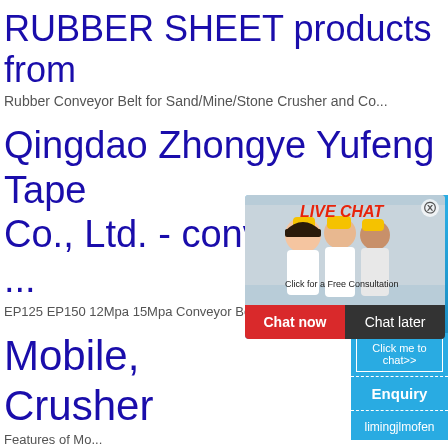RUBBER SHEET products from
Rubber Conveyor Belt for Sand/Mine/Stone Crusher and Co...
Qingdao Zhongye Yufeng Tape Co., Ltd. - conveyor belt ...
EP125 EP150 12Mpa 15Mpa Conveyor Belt for stone crushe...
Mobile, Crusher
Features of Mo...
[Figure (screenshot): Live Chat popup with workers in hard hats, red LIVE CHAT text, 'Click for a Free Consultation', Chat now and Chat later buttons]
[Figure (infographic): Right side blue panel with 'hour online', crusher machine image, 'Click me to chat>>' button, 'Enquiry' text, 'limingjlmofen' username]
Rubber Conveyor Belts, Resistance Conveyor |
N17 Rubber Conveyor Belts – Our range o...
Crusher Spare Parts - c